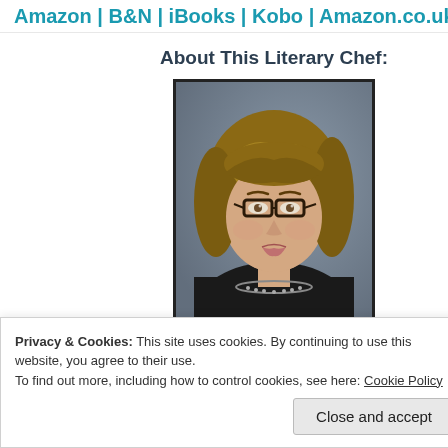Amazon | B&N | iBooks | Kobo | Amazon.co.uk | Amazon.c…
About This Literary Chef:
[Figure (photo): Portrait photo of a woman with shoulder-length wavy blonde-brown hair, wearing glasses and a dark top with a decorative necklace, posed against a grey background. Photo has a dark border frame.]
Privacy & Cookies: This site uses cookies. By continuing to use this website, you agree to their use.
To find out more, including how to control cookies, see here: Cookie Policy
Close and accept